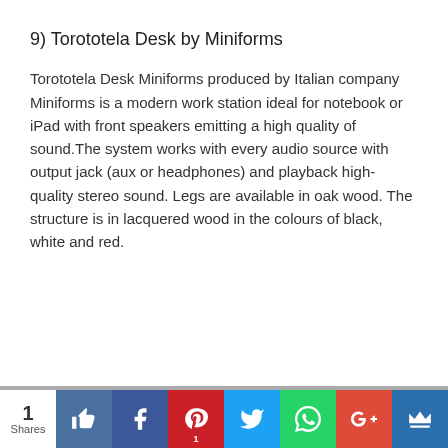9) Torototela Desk by Miniforms
Torototela Desk Miniforms produced by Italian company Miniforms is a modern work station ideal for notebook or iPad with front speakers emitting a high quality of sound.The system works with every audio source with output jack (aux or headphones) and playback high-quality stereo sound. Legs are available in oak wood. The structure is in lacquered wood in the colours of black, white and red.
1 Shares | Social share bar with like, facebook, pinterest (1), twitter, whatsapp, google+, crown buttons